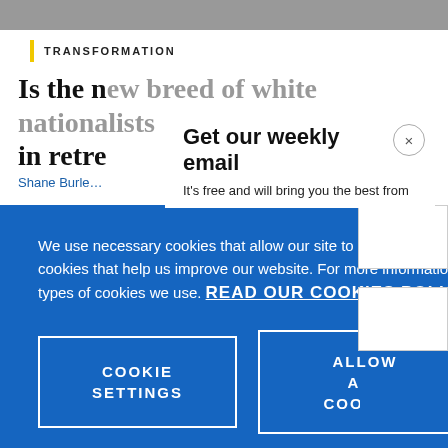TRANSFORMATION
Is the new breed of white nationalists in retre…
Shane Burle…
Get our weekly email
It's free and will bring you the best from
We use necessary cookies that allow our site to work. We also set optional cookies that help us improve our website. For more information about the types of cookies we use. READ OUR COOKIES POLICY HERE
COOKIE SETTINGS
ALLOW ALL COOKIES
data.
TRANSFO